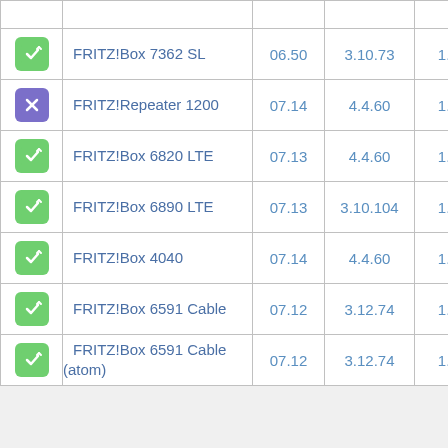| Icon | Device | Version | Kernel | Build |
| --- | --- | --- | --- | --- |
| [link-icon] | FRITZ!Box 7362 SL | 06.50 | 3.10.73 | 1.22. |
| [x-icon] | FRITZ!Repeater 1200 | 07.14 | 4.4.60 | 1.24. |
| [link-icon] | FRITZ!Box 6820 LTE | 07.13 | 4.4.60 | 1.24. |
| [link-icon] | FRITZ!Box 6890 LTE | 07.13 | 3.10.104 | 1.24. |
| [link-icon] | FRITZ!Box 4040 | 07.14 | 4.4.60 | 1.24. |
| [link-icon] | FRITZ!Box 6591 Cable | 07.12 | 3.12.74 | 1.24. |
| [link-icon] | FRITZ!Box 6591 Cable (atom) | 07.12 | 3.12.74 | 1.24. |